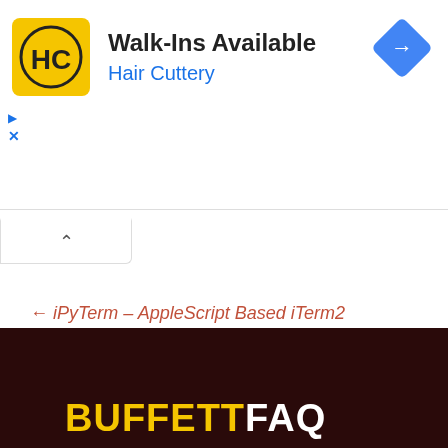[Figure (screenshot): Hair Cuttery advertisement banner with yellow HC logo, 'Walk-Ins Available' title, 'Hair Cuttery' subtitle in blue, and a blue diamond navigation icon on the right]
[Figure (screenshot): Collapsed UI tab with an upward chevron arrow]
← iPyTerm – AppleScript Based iTerm2 launcher for IPython
iPyNbViewer: Standalone App for IPython Notebook →
[Figure (screenshot): Dark maroon footer area with partial 'BUFFETTFAQ' text in yellow and white large bold letters]